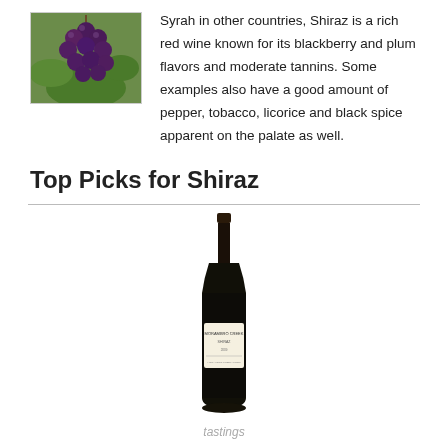[Figure (photo): Cluster of dark red/purple grapes on a vine with green leaves]
Syrah in other countries, Shiraz is a rich red wine known for its blackberry and plum flavors and moderate tannins. Some examples also have a good amount of pepper, tobacco, licorice and black spice apparent on the palate as well.
Top Picks for Shiraz
[Figure (photo): A tall dark wine bottle with a cream label reading Morambro Creek Shiraz]
tastings
Morambro Creek